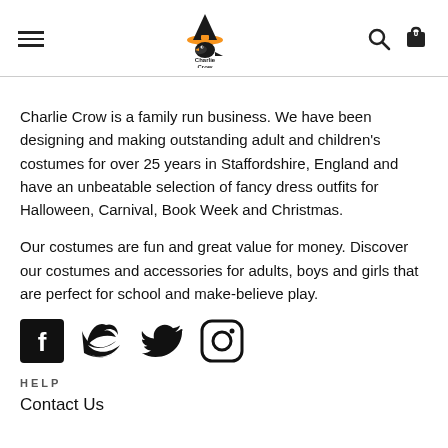Charlie Crow logo, navigation menu, search, cart
Charlie Crow is a family run business. We have been designing and making outstanding adult and children's costumes for over 25 years in Staffordshire, England and have an unbeatable selection of fancy dress outfits for Halloween, Carnival, Book Week and Christmas.
Our costumes are fun and great value for money. Discover our costumes and accessories for adults, boys and girls that are perfect for school and make-believe play.
[Figure (logo): Social media icons: Facebook, Twitter, Instagram]
HELP
Contact Us